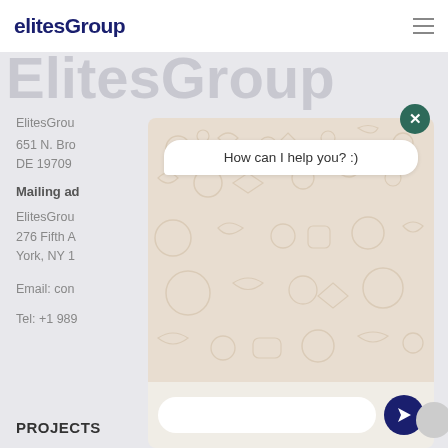elitesGroup
ElitesGroup
ElitesGrou
651 N. Bro
DE 19709
Mailing ad
ElitesGrou
276 Fifth A
York, NY 1
Email: con
Tel: +1 989
PROJECTS
[Figure (screenshot): WhatsApp chat widget overlay with patterned background, close button, 'How can I help you? :)' message bubble, text input field and send button]